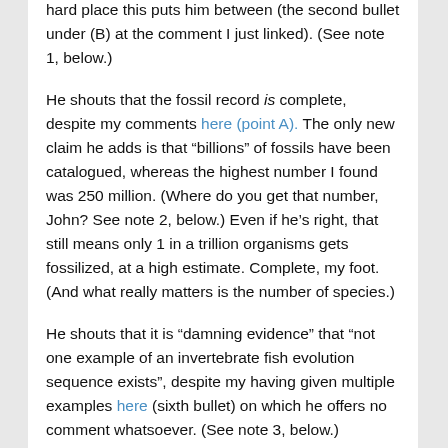hard place this puts him between (the second bullet under (B) at the comment I just linked). (See note 1, below.)
He shouts that the fossil record is complete, despite my comments here (point A). The only new claim he adds is that “billions” of fossils have been catalogued, whereas the highest number I found was 250 million. (Where do you get that number, John? See note 2, below.) Even if he’s right, that still means only 1 in a trillion organisms gets fossilized, at a high estimate. Complete, my foot. (And what really matters is the number of species.)
He shouts that it is “damning evidence” that “not one example of an invertebrate fish evolution sequence exists”, despite my having given multiple examples here (sixth bullet) on which he offers no comment whatsoever. (See note 3, below.)